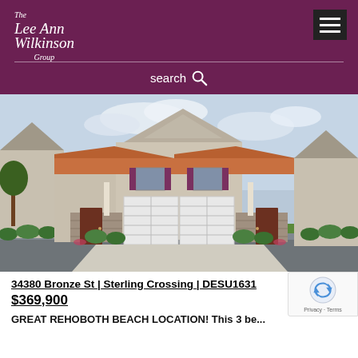[Figure (logo): The Lee Ann Wilkinson Group logo in white italic script on dark purple background]
search
[Figure (photo): Exterior photo of 34380 Bronze St property at Sterling Crossing — a two-story townhome with copper metal roof, stone facade, double garage, beige siding and purple shutters]
34380 Bronze St | Sterling Crossing | DESU1631
$369,900
GREAT REHOBOTH BEACH LOCATION! This 3 be...